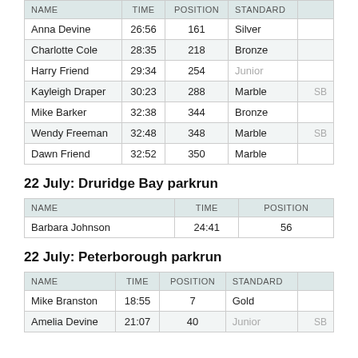| NAME | TIME | POSITION | STANDARD |  |
| --- | --- | --- | --- | --- |
| Anna Devine | 26:56 | 161 | Silver |  |
| Charlotte Cole | 28:35 | 218 | Bronze |  |
| Harry Friend | 29:34 | 254 | Junior |  |
| Kayleigh Draper | 30:23 | 288 | Marble | SB |
| Mike Barker | 32:38 | 344 | Bronze |  |
| Wendy Freeman | 32:48 | 348 | Marble | SB |
| Dawn Friend | 32:52 | 350 | Marble |  |
22 July: Druridge Bay parkrun
| NAME | TIME | POSITION |
| --- | --- | --- |
| Barbara Johnson | 24:41 | 56 |
22 July: Peterborough parkrun
| NAME | TIME | POSITION | STANDARD |  |
| --- | --- | --- | --- | --- |
| Mike Branston | 18:55 | 7 | Gold |  |
| Amelia Devine | 21:07 | 40 | Junior | SB |